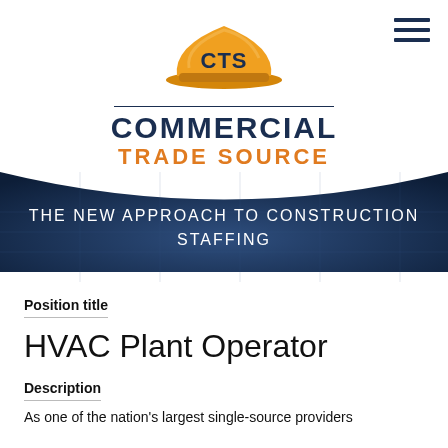[Figure (logo): CTS hardhat logo — orange construction helmet with 'CTS' text in dark navy blue]
COMMERCIAL
TRADE SOURCE
[Figure (infographic): Dark navy blue curved banner with white text: THE NEW APPROACH TO CONSTRUCTION STAFFING]
Position title
HVAC Plant Operator
Description
As one of the nation's largest single-source providers